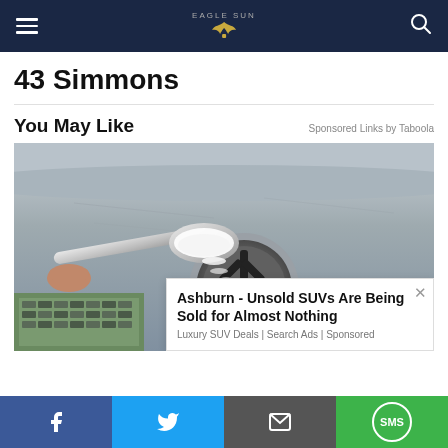Navigation bar with hamburger menu, site logo, and search icon
43 Simmons
You May Like
Sponsored Links by Taboola
[Figure (photo): Photo of a spoon pouring white powder (baking soda) into a stainless steel kitchen sink drain. A small parking lot aerial photo appears in the bottom left corner.]
Ashburn - Unsold SUVs Are Being Sold for Almost Nothing
Luxury SUV Deals | Search Ads | Sponsored
Social share bar: Facebook, Twitter, Email, SMS